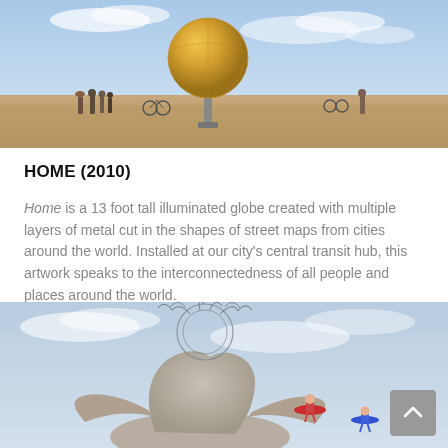[Figure (photo): Wide landscape photo of a large gold metallic spherical globe sculpture elevated on a pedestal in a desert flat landscape at Burning Man, with people and bicycles visible in the background under a blue sky with clouds.]
HOME (2010)
Home is a 13 foot tall illuminated globe created with multiple layers of metal cut in the shapes of street maps from cities around the world. Installed at our city's central transit hub, this artwork speaks to the interconnectedness of all people and places around the world.
[Figure (photo): Photo of a large intricate wire-mesh or metal sculpture resembling a figure with a bulbous head made of twisted wire tendrils, with two performers in colorful tutus (one red, one blue) posing on the sculpture's lower portions against a cloudy sky, photographed at an outdoor event.]